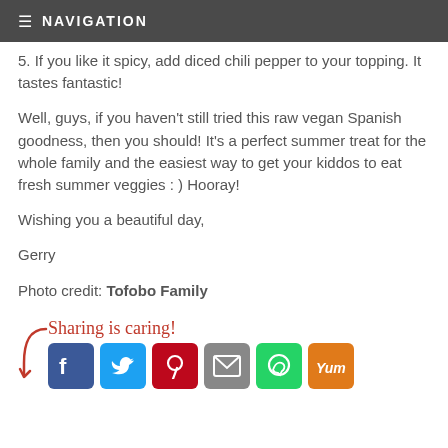≡ NAVIGATION
5. If you like it spicy, add diced chili pepper to your topping. It tastes fantastic!
Well, guys, if you haven't still tried this raw vegan Spanish goodness, then you should! It's a perfect summer treat for the whole family and the easiest way to get your kiddos to eat fresh summer veggies : ) Hooray!
Wishing you a beautiful day,
Gerry
Photo credit: Tofobo Family
Sharing is caring!
[Figure (other): Social sharing buttons: Facebook, Twitter, Pinterest, Email, WhatsApp, Yummly]